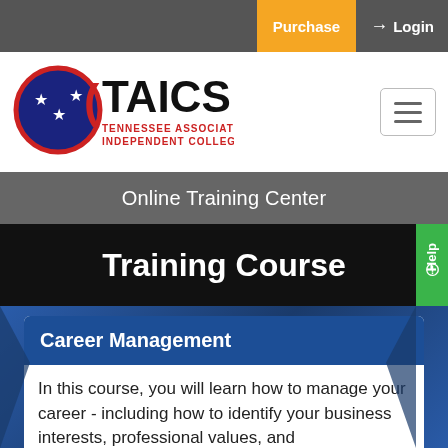Purchase   Login
[Figure (logo): CTAICS logo - Tennessee Association of Independent Colleges & Schools with circular Tennessee tri-star flag emblem]
Online Training Center
Training Course
Career Management
In this course, you will learn how to manage your career - including how to identify your business interests, professional values, and